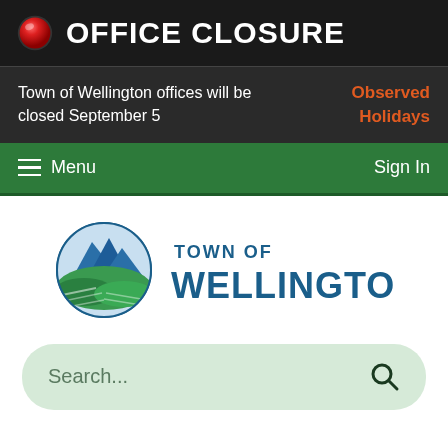OFFICE CLOSURE
Town of Wellington offices will be closed September 5
Observed Holidays
Menu  Sign In
[Figure (logo): Town of Wellington logo with mountain and rolling green hills in a circular emblem, with text TOWN OF WELLINGTON]
Search...